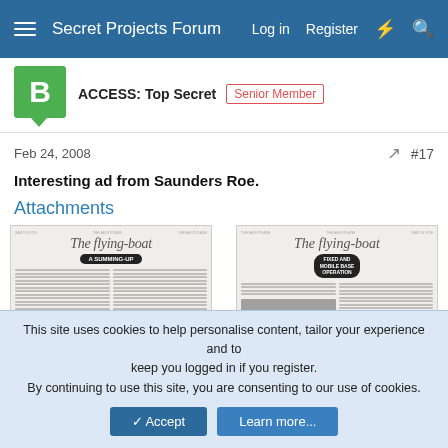Secret Projects Forum  Log in  Register
ACCESS: Top Secret  Senior Member
Feb 24, 2008  #17
Interesting ad from Saunders Roe.
Attachments
[Figure (photo): Two scanned pages of a document titled 'The flying-boat'. Left page has subtitle 'A SUMMING-UP'. Right page has subtitle 'FIXED AND MOBILE BASE OPERATION' with a photo of a flying boat on water.]
This site uses cookies to help personalise content, tailor your experience and to keep you logged in if you register. By continuing to use this site, you are consenting to our use of cookies.